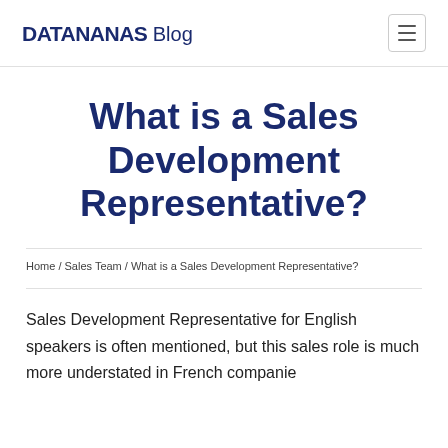DATANANAS Blog
What is a Sales Development Representative?
Home / Sales Team / What is a Sales Development Representative?
Sales Development Representative for English speakers is often mentioned, but this sales role is much more understated in French companies